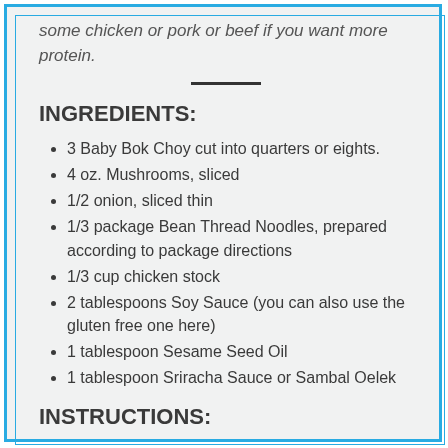some chicken or pork or beef if you want more protein.
INGREDIENTS:
3 Baby Bok Choy cut into quarters or eights.
4 oz. Mushrooms, sliced
1/2 onion, sliced thin
1/3 package Bean Thread Noodles, prepared according to package directions
1/3 cup chicken stock
2 tablespoons Soy Sauce (you can also use the gluten free one here)
1 tablespoon Sesame Seed Oil
1 tablespoon Sriracha Sauce or Sambal Oelek
INSTRUCTIONS: